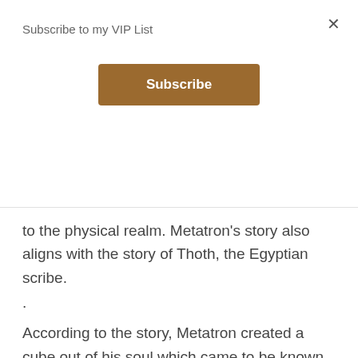Subscribe to my VIP List
×
Subscribe
to the physical realm. Metatron's story also aligns with the story of Thoth, the Egyptian scribe.
.
According to the story, Metatron created a cube out of his soul which came to be known as the symbol named Metatron's cube.
.
Metatron's Cube consists of 13 circles